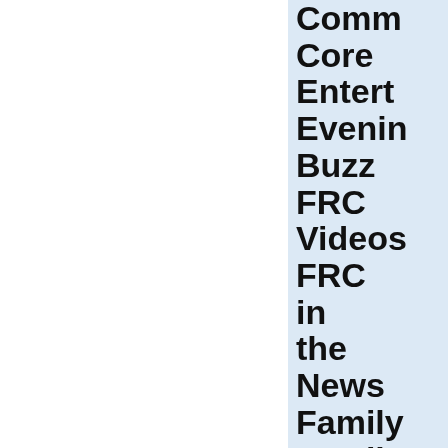Comm Core
Entert
Evenin
Buzz
FRC Videos
FRC in the News
Family
Family Facts
Family Policy Lectur
Events
Father Day 2014
Govern
Health